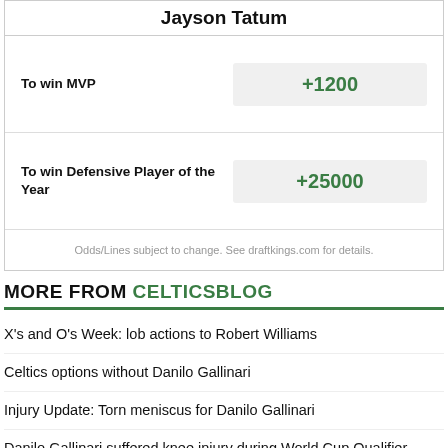Jayson Tatum
| Bet | Odds |
| --- | --- |
| To win MVP | +1200 |
| To win Defensive Player of the Year | +25000 |
Odds/Lines subject to change. See draftkings.com for details.
MORE FROM CELTICSBLOG
X's and O's Week: lob actions to Robert Williams
Celtics options without Danilo Gallinari
Injury Update: Torn meniscus for Danilo Gallinari
Danilo Gallinari suffered knee injury during World Cup Qualifier